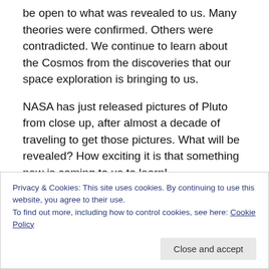be open to what was revealed to us. Many theories were confirmed. Others were contradicted. We continue to learn about the Cosmos from the discoveries that our space exploration is bringing to us.
NASA has just released pictures of Pluto from close up, after almost a decade of traveling to get those pictures. What will be revealed? How exciting it is that something new is coming to us to learn!
In personal life, what we don't know we don't know can trip us up! If you think you know everything you need to know
Privacy & Cookies: This site uses cookies. By continuing to use this website, you agree to their use.
To find out more, including how to control cookies, see here: Cookie Policy